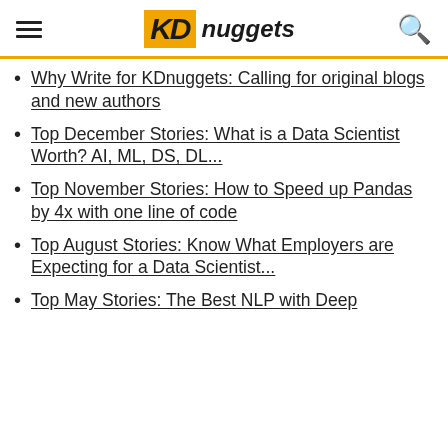KDnuggets
Why Write for KDnuggets: Calling for original blogs and new authors
Top December Stories: What is a Data Scientist Worth? AI, ML, DS, DL...
Top November Stories: How to Speed up Pandas by 4x with one line of code
Top August Stories: Know What Employers are Expecting for a Data Scientist...
Top May Stories: The Best NLP with Deep